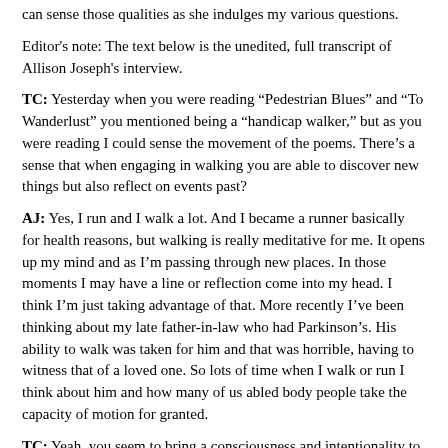can sense those qualities as she indulges my various questions.
Editor’s note: The text below is the unedited, full transcript of Allison Joseph's interview.
TC: Yesterday when you were reading “Pedestrian Blues” and “To Wanderlust” you mentioned being a “handicap walker,” but as you were reading I could sense the movement of the poems. There’s a sense that when engaging in walking you are able to discover new things but also reflect on events past?
AJ: Yes, I run and I walk a lot. And I became a runner basically for health reasons, but walking is really meditative for me. It opens up my mind and as I’m passing through new places. In those moments I may have a line or reflection come into my head. I think I’m just taking advantage of that. More recently I’ve been thinking about my late father-in-law who had Parkinson’s. His ability to walk was taken for him and that was horrible, having to witness that of a loved one. So lots of time when I walk or run I think about him and how many of us abled body people take the capacity of motion for granted.
TC: Yeah, you seem to bring a consciousness and intentionality to the activity that I think eludes most able-bodied people. It reminded me of Thoreau’s essay which is just called “Walking”. For him, being able to